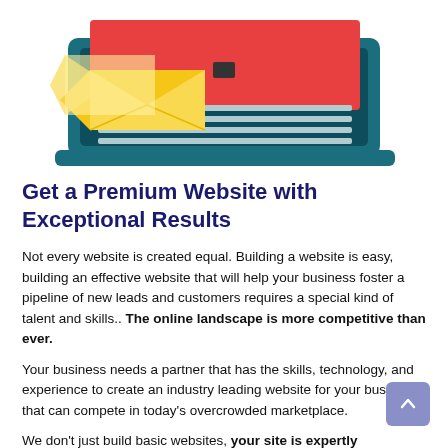[Figure (illustration): Illustration of a laptop with email envelopes, showing a website/email marketing concept with teal laptop, red screen, and yellow envelope icons]
Get a Premium Website with Exceptional Results
Not every website is created equal. Building a website is easy, building an effective website that will help your business foster a pipeline of new leads and customers requires a special kind of talent and skills.. The online landscape is more competitive than ever.
Your business needs a partner that has the skills, technology, and experience to create an industry leading website for your business that can compete in today's overcrowded marketplace.
We don't just build basic websites, your site is expertly designed and crafted for your business.